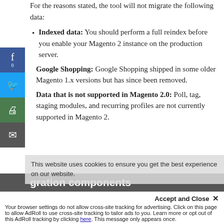For the reasons stated, the tool will not migrate the following data:
Indexed data: You should perform a full reindex before you enable your Magento 2 instance on the production server.
Google Shopping: Google Shopping shipped in some older Magento 1.x versions but has since been removed.
Data that is not supported in Magento 2.0: Poll, tag, staging modules, and recurring profiles are not currently supported in Magento 2.
gration components
Magento 2 migration process involves the migration of four main elements:
Themes Migration- Magento 1 theme can't be migrated directly to Magento 2...
Your browser settings do not allow cross-site tracking for advertising. Click on this page to allow AdRoll to use cross-site tracking to tailor ads to you. Learn more or opt out of this AdRoll tracking by clicking here. This message only appears once.